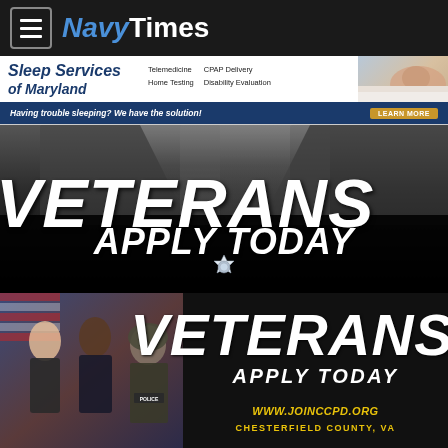NavyTimes
[Figure (advertisement): Sleep Services of Maryland ad banner with telemedicine, home testing, CPAP delivery, disability evaluation services. Text: Having trouble sleeping? We have the solution! with LEARN MORE button.]
[Figure (advertisement): Veterans Apply Today police recruitment ad with officers photo, large white bold italic text VETERANS APPLY TODAY and a police badge icon.]
[Figure (advertisement): Veterans Apply Today police recruitment ad with three officers photo, text VETERANS APPLY TODAY, www.joinccpd.org, Chesterfield County, VA in yellow.]